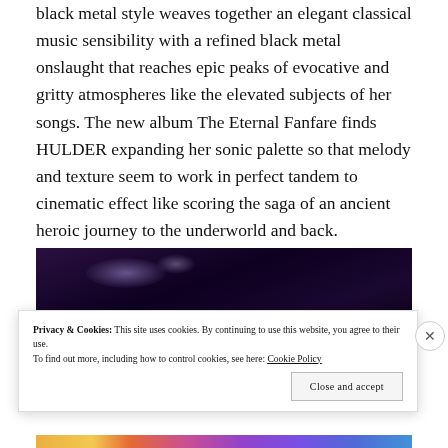black metal style weaves together an elegant classical music sensibility with a refined black metal onslaught that reaches epic peaks of evocative and gritty atmospheres like the elevated subjects of her songs. The new album The Eternal Fanfare finds HULDER expanding her sonic palette so that melody and texture seem to work in perfect tandem to cinematic effect like scoring the saga of an ancient heroic journey to the underworld and back.
[Figure (photo): Dark concert/performance photo with purple stage lighting against a nearly black background]
Privacy & Cookies: This site uses cookies. By continuing to use this website, you agree to their use.
To find out more, including how to control cookies, see here: Cookie Policy
Close and accept